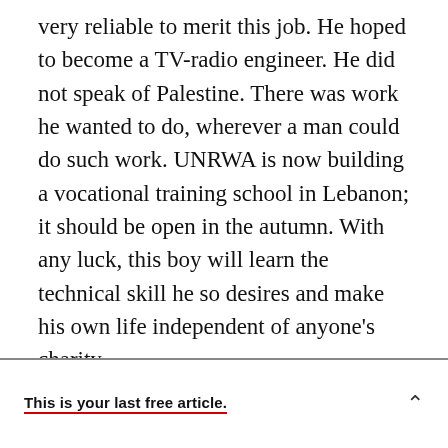very reliable to merit this job. He hoped to become a TV-radio engineer. He did not speak of Palestine. There was work he wanted to do, wherever a man could do such work. UNRWA is now building a vocational training school in Lebanon; it should be open in the autumn. With any luck, this boy will learn the technical skill he so desires and make his own life independent of anyone's charity.
We heard shrill painful child's crying and went toward the sound. A child of about two was tied by the ankle to a chair, howling the same word over and over. A younger child was silently trying to
This is your last free article.